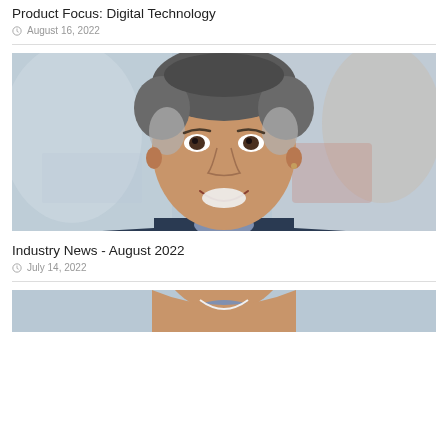Product Focus: Digital Technology
August 16, 2022
[Figure (photo): Portrait photo of a middle-aged man with grey hair, smiling, wearing a dark suit and light blue shirt, blurred urban background]
Industry News - August 2022
July 14, 2022
[Figure (photo): Partial portrait photo of a man in a dark suit and light blue shirt, smiling, similar to the above photo, cropped at bottom of page]